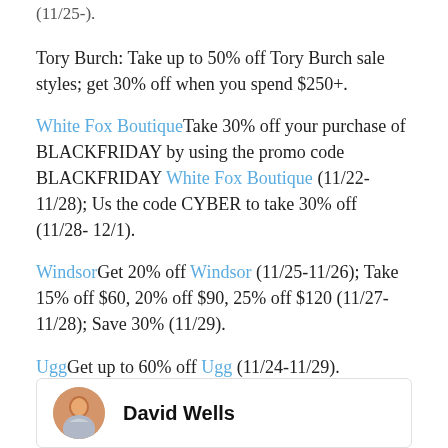(11/25-).
Tory Burch: Take up to 50% off Tory Burch sale styles; get 30% off when you spend $250+.
White Fox BoutiqueTake 30% off your purchase of BLACKFRIDAY by using the promo code BLACKFRIDAY White Fox Boutique (11/22-11/28); Us the code CYBER to take 30% off (11/28- 12/1).
WindsorGet 20% off Windsor (11/25-11/26); Take 15% off $60, 20% off $90, 25% off $120 (11/27-11/28); Save 30% (11/29).
UggGet up to 60% off Ugg (11/24-11/29).
David Wells